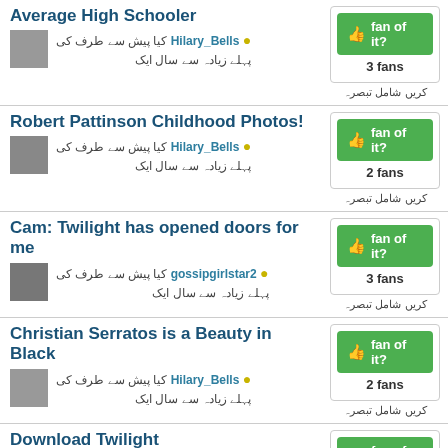Average High Schooler
[Figure (other): Fan of it button with thumbs up icon, green background]
3 fans
کریں شامل تبصرہ
کیا پیش سے طرف کی • Hilary_Bells
پہلے زیادہ سے سال ایک
Robert Pattinson Childhood Photos!
[Figure (other): Fan of it button with thumbs up icon, green background]
2 fans
کریں شامل تبصرہ
کیا پیش سے طرف کی • Hilary_Bells
پہلے زیادہ سے سال ایک
Cam: Twilight has opened doors for me
[Figure (other): Fan of it button with thumbs up icon, green background]
3 fans
کریں شامل تبصرہ
کیا پیش سے طرف کی • gossipgirlstar2
پہلے زیادہ سے سال ایک
Christian Serratos is a Beauty in Black
[Figure (other): Fan of it button with thumbs up icon, green background]
2 fans
کریں شامل تبصرہ
کیا پیش سے طرف کی • Hilary_Bells
پہلے زیادہ سے سال ایک
Download Twilight
download twilight [WMV] movie for free. work perfectly
[Figure (other): Fan of it button with thumbs up icon, green background]
3 fans